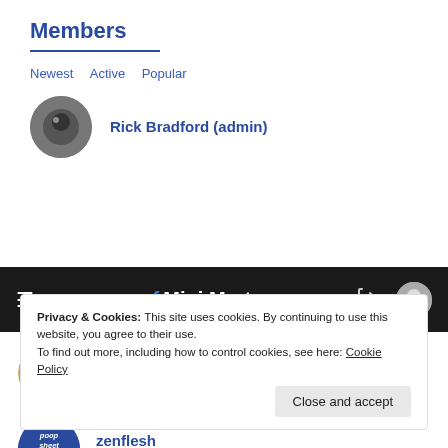Members
Newest   Active   Popular
Rick Bradford (admin)
[Figure (screenshot): Navigation bar with hamburger menu, 'pf Mini Mart' brand, login icon, and user avatar circle]
FLOYDLEWIS
Active 2 weeks, 1 day ago
zenflesh
Active 2 weeks, 3 days ago
Privacy & Cookies: This site uses cookies. By continuing to use this website, you agree to their use.
To find out more, including how to control cookies, see here: Cookie Policy
Close and accept